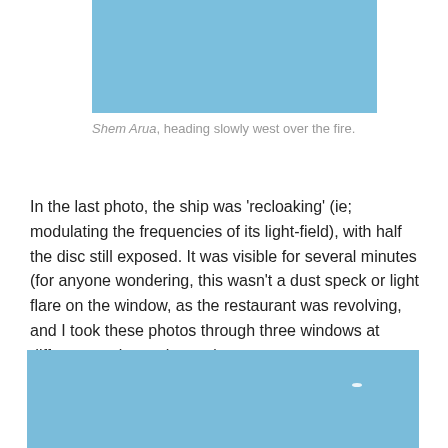[Figure (photo): Blue sky photo cropped at top of page]
Shem Arua, heading slowly west over the fire.
In the last photo, the ship was ‘recloaking’ (ie; modulating the frequencies of its light-field), with half the disc still exposed. It was visible for several minutes (for anyone wondering, this wasn’t a dust speck or light flare on the window, as the restaurant was revolving, and I took these photos through three windows at different angles to the sun).
[Figure (photo): Blue sky photo at bottom of page with small bright object visible]